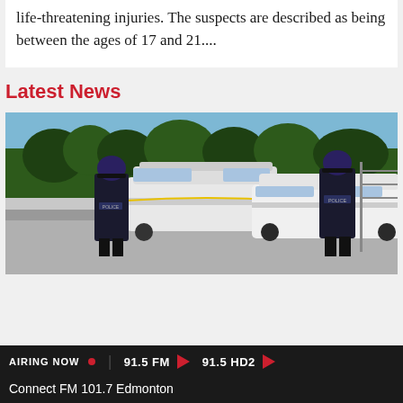life-threatening injuries. The suspects are described as being between the ages of 17 and 21....
Latest News
[Figure (photo): Two Surrey Police officers in dark uniforms walking away from camera toward police vehicles (RCMP SUVs) on a paved area. Trees and blue sky visible in background.]
AIRING NOW · | 91.5 FM ▶ 91.5 HD2 ▶ Connect FM 101.7 Edmonton